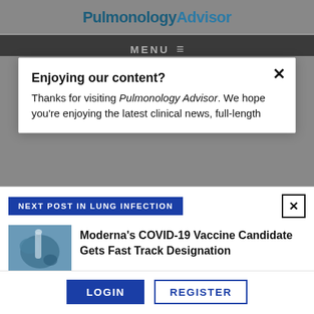PulmonologyAdvisor
MENU
Search...
Enjoying our content?
Thanks for visiting Pulmonology Advisor. We hope you’re enjoying the latest clinical news, full-length features, case studies, and more.
NEXT POST IN LUNG INFECTION
[Figure (photo): Photo of gloved hands holding a vial/syringe, blue-toned medical image]
Moderna’s COVID-19 Vaccine Candidate Gets Fast Track Designation
LOGIN   REGISTER